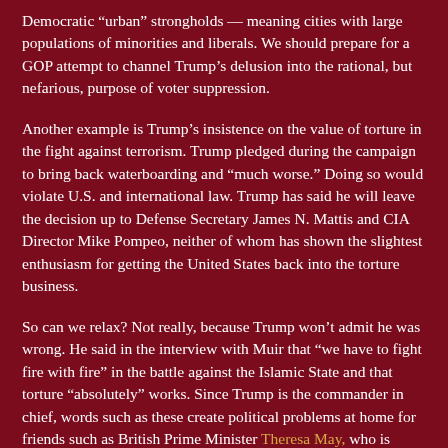Democratic “urban” strongholds — meaning cities with large populations of minorities and liberals. We should prepare for a GOP attempt to channel Trump’s delusion into the rational, but nefarious, purpose of voter suppression.
Another example is Trump’s insistence on the value of torture in the fight against terrorism. Trump pledged during the campaign to bring back waterboarding and “much worse.” Doing so would violate U.S. and international law. Trump has said he will leave the decision up to Defense Secretary James N. Mattis and CIA Director Mike Pompeo, neither of whom has shown the slightest enthusiasm for getting the United States back into the torture business.
So can we relax? Not really, because Trump won’t admit he was wrong. He said in the interview with Muir that “we have to fight fire with fire” in the battle against the Islamic State and that torture “absolutely” works. Since Trump is the commander in chief, words such as these create political problems at home for friends such as British Prime Minister Theresa May, who is scheduled to meet with Trump on Friday. How can allies fully share intelligence with the United States if they believe captured suspects may be tortured?
My point is that Trump’s off-the-wall statements and Twitter rants cannot be dismissed as mere attempts to distract. We have a president who is obsessed with his public standing, given to